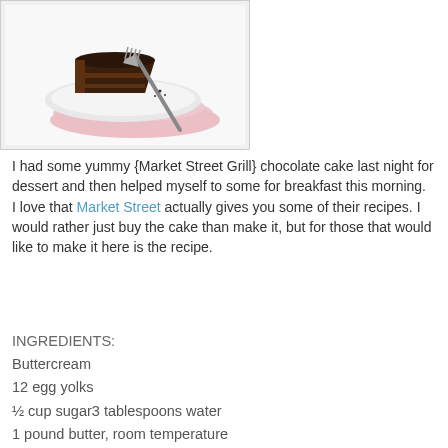[Figure (photo): A slice of chocolate cake on a white plate with a fork and pink napkin on a white background]
I had some yummy {Market Street Grill} chocolate cake last night for dessert and then helped myself to some for breakfast this morning.
I love that Market Street actually gives you some of their recipes. I would rather just buy the cake than make it, but for those that would like to make it here is the recipe.
INGREDIENTS:
Buttercream
12 egg yolks
½ cup sugar3 tablespoons water
1 pound butter, room temperature